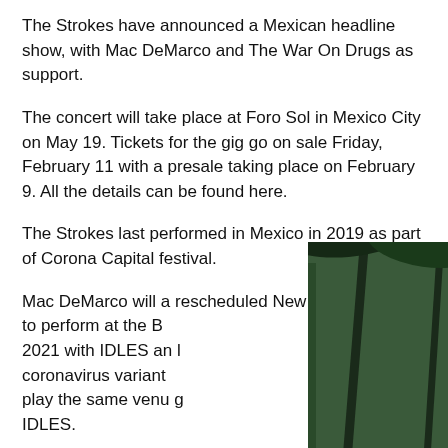The Strokes have announced a Mexican headline show, with Mac DeMarco and The War On Drugs as support.
The concert will take place at Foro Sol in Mexico City on May 19. Tickets for the gig go on sale Friday, February 11 with a presale taking place on February 9. All the details can be found here.
The Strokes last performed in Mexico in 2019 as part of Corona Capital festival.
[Figure (screenshot): Top Articles overlay widget showing a video of palm trees at night with a 'Trump asks for a special master to review Mar-a-Lago evidence : NPR' headline card. Includes pause, mute, and next arrow controls.]
Mac DeMarco will also perform at rescheduled New York shows, due to perform at the Brooklyn Steel in 2021 with IDLES and coronavirus variant play the same venue IDLES.